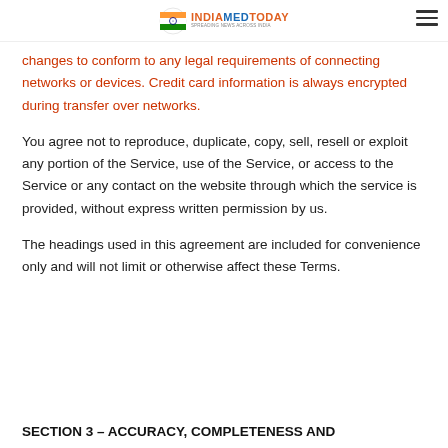INDIAMEDTODAY
changes to conform to any legal requirements of connecting networks or devices. Credit card information is always encrypted during transfer over networks.
You agree not to reproduce, duplicate, copy, sell, resell or exploit any portion of the Service, use of the Service, or access to the Service or any contact on the website through which the service is provided, without express written permission by us.
The headings used in this agreement are included for convenience only and will not limit or otherwise affect these Terms.
SECTION 3 – ACCURACY, COMPLETENESS AND